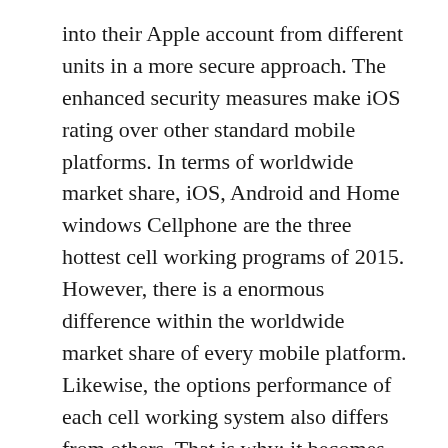into their Apple account from different units in a more secure approach. The enhanced security measures make iOS rating over other standard mobile platforms. In terms of worldwide market share, iOS, Android and Home windows Cellphone are the three hottest cell working programs of 2015. However, there is a enormous difference within the worldwide market share of every mobile platform. Likewise, the options performance of each cell working system also differs from others. That is why; it becomes essential for cellular app developers to grasp among the most necessary differences between iOS, Android and Windows Phone.